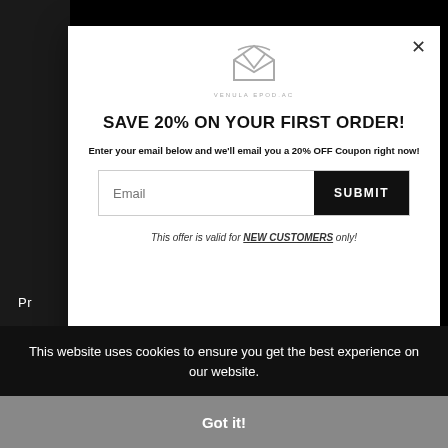[Figure (logo): Stylized M logo for Vehula Epod or similar brand, in gray outline]
SAVE 20% ON YOUR FIRST ORDER!
Enter your email below and we'll email you a 20% OFF Coupon right now!
This offer is valid for NEW CUSTOMERS only!
This website uses cookies to ensure you get the best experience on our website.
Got it!